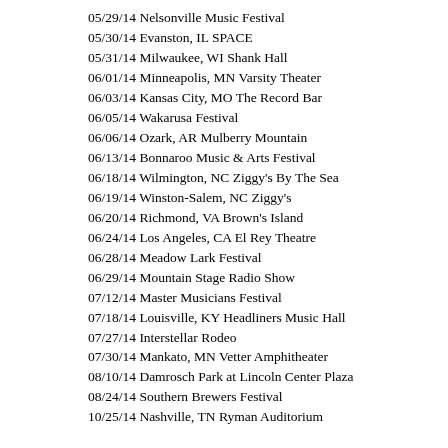05/29/14 Nelsonville Music Festival
05/30/14 Evanston, IL SPACE
05/31/14 Milwaukee, WI Shank Hall
06/01/14 Minneapolis, MN Varsity Theater
06/03/14 Kansas City, MO The Record Bar
06/05/14 Wakarusa Festival
06/06/14 Ozark, AR Mulberry Mountain
06/13/14 Bonnaroo Music & Arts Festival
06/18/14 Wilmington, NC Ziggy's By The Sea
06/19/14 Winston-Salem, NC Ziggy's
06/20/14 Richmond, VA Brown's Island
06/24/14 Los Angeles, CA El Rey Theatre
06/28/14 Meadow Lark Festival
06/29/14 Mountain Stage Radio Show
07/12/14 Master Musicians Festival
07/18/14 Louisville, KY Headliners Music Hall
07/27/14 Interstellar Rodeo
07/30/14 Mankato, MN Vetter Amphitheater
08/10/14 Damrosch Park at Lincoln Center Plaza
08/24/14 Southern Brewers Festival
10/25/14 Nashville, TN Ryman Auditorium